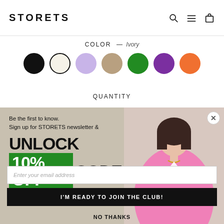STORETS
COLOR — Ivory
[Figure (other): Color swatches: black, ivory (selected), lavender, tan, green, purple, orange]
QUANTITY
[Figure (photo): Modal popup over product page showing a woman in a pink blazer with newsletter signup]
Be the first to know.
Sign up for STORETS newsletter &
UNLOCK
10% OFF CODE
Enter your email address
I'M READY TO JOIN THE CLUB!
NO THANKS